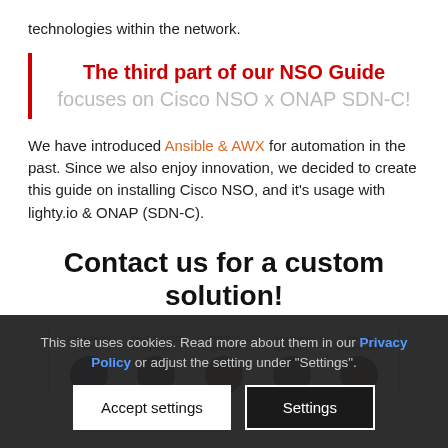technologies within the network.
The third part of our NSO Guide focuses on Cisco NSO x ONAP SDN-C!
We have introduced Ansible & AWX for automation in the past. Since we also enjoy innovation, we decided to create this guide on installing Cisco NSO, and it's usage with lighty.io & ONAP (SDN-C).
Contact us for a custom solution!
[Figure (infographic): Diagram showing categories: Intent-Based Tools, DevOps CI/CD Pipeline, OSS/RSS Systems, Scripts and Application, Service Orchestration with circular icons below each label]
This site uses cookies. Read more about them in our Privacy Policy or adjust the setting under "Settings".
Accept settings
Settings